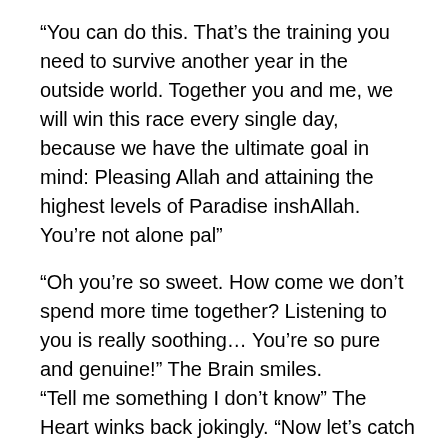“You can do this. That’s the training you need to survive another year in the outside world. Together you and me, we will win this race every single day, because we have the ultimate goal in mind: Pleasing Allah and attaining the highest levels of Paradise inshAllah. You’re not alone pal”
“Oh you’re so sweet. How come we don’t spend more time together? Listening to you is really soothing… You’re so pure and genuine!” The Brain smiles.
“Tell me something I don’t know” The Heart winks back jokingly. “Now let’s catch up with the rest in Conference Room B. The ‘Soul’ will give the final speech.”
Spiritual Benefits Of Fasting
Dressed in a sheer white suit, the ‘Inner Being’ welcomes each organ with a rose. The sound of Qur’an in the background fills the room with tranquility. After the